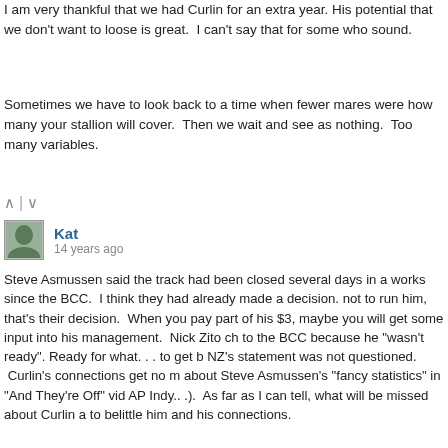I am very thankful that we had Curlin for an extra year. His potential that we don't want to loose is great. I can't say that for some who sound.
Sometimes we have to look back to a time when fewer mares were how many your stallion will cover. Then we wait and see as nothi Too many variables.
^ | v
Kat
14 years ago
Steve Asmussen said the track had been closed several days in a works since the BCC. I think they had already made a decision. not to run him, that's their decision. When you pay part of his $3, maybe you will get some input into his management. Nick Zito ch to the BCC because he "wasn't ready". Ready for what. . . to get b NZ's statement was not questioned. Curlin's connections get no m about Steve Asmussen's "fancy statistics" in "And They're Off" vid AP Indy.. .). As far as I can tell, what will be missed about Curlin a to belittle him and his connections.